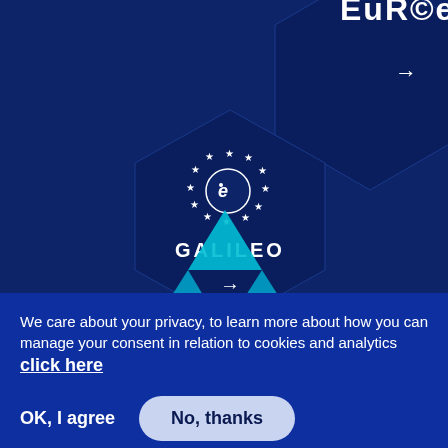[Figure (infographic): Hexagonal tiles on dark navy blue background showing European space programme logos and labels: partially visible top tile with 'EUNOS' text (cut off), middle tile with Galileo logo (circle with stars and 'e' symbol) and 'GALILEO' label with arrow, lower tile with 'GOVSATCOM' label and arrow, and a teal/cyan triangular shape at bottom center.]
We care about your privacy, to learn more about how you can manage your consent in relation to cookies and analytics click here
OK, I agree
No, thanks